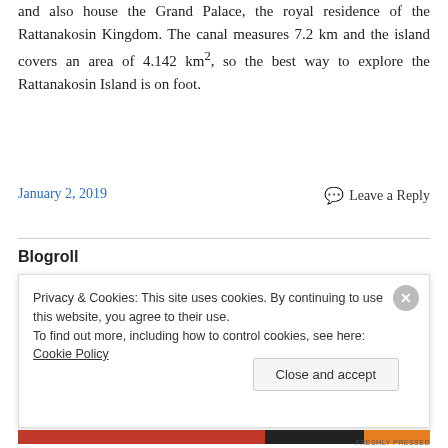and also house the Grand Palace, the royal residence of the Rattanakosin Kingdom. The canal measures 7.2 km and the island covers an area of 4.142 km², so the best way to explore the Rattanakosin Island is on foot.
Continue reading →
January 2, 2019
Leave a Reply
Blogroll
Privacy & Cookies: This site uses cookies. By continuing to use this website, you agree to their use.
To find out more, including how to control cookies, see here: Cookie Policy
Close and accept